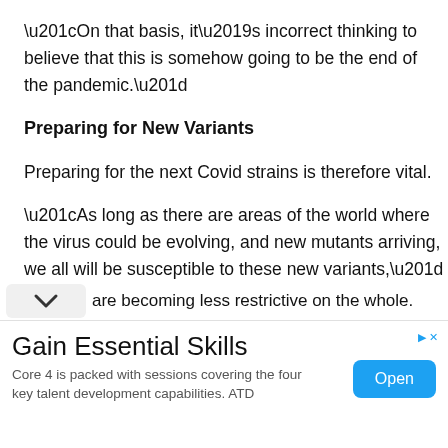“On that basis, it’s incorrect thinking to believe that this is somehow going to be the end of the pandemic.”
Preparing for New Variants
Preparing for the next Covid strains is therefore vital.
“As long as there are areas of the world where the virus could be evolving, and new mutants arriving, we all will be susceptible to these new variants,” said Glenda Gray, chief executive officer of the South African Medical Research Council.
Lockdowns and travel curbs aren’t going away, even if are becoming less restrictive on the whole.
[Figure (other): Advertisement banner: Gain Essential Skills - Core 4 is packed with sessions covering the four key talent development capabilities. ATD. With an Open button.]